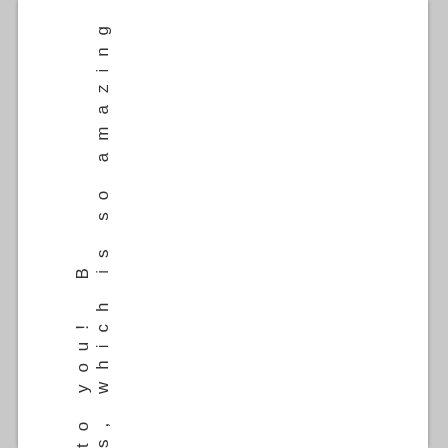s, which is so amazing to you! B